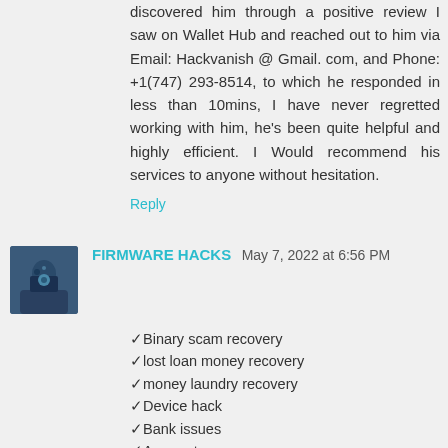discovered him through a positive review I saw on Wallet Hub and reached out to him via Email: Hackvanish @ Gmail. com, and Phone: +1(747) 293-8514, to which he responded in less than 10mins, I have never regretted working with him, he's been quite helpful and highly efficient. I Would recommend his services to anyone without hesitation.
Reply
FIRMWARE HACKS May 7, 2022 at 6:56 PM
🔹Binary scam recovery
🔹lost loan money recovery
🔹money laundry recovery
🔹Device hack
🔹Bank issues
🔹Access to school/company/fellowship/organization files
🔹Lost cars tracking
🔹fraud payment
🔹Access to cheating husband/wife device
🔹 extending and subtracting of stamped file concerning a giving end line period of time